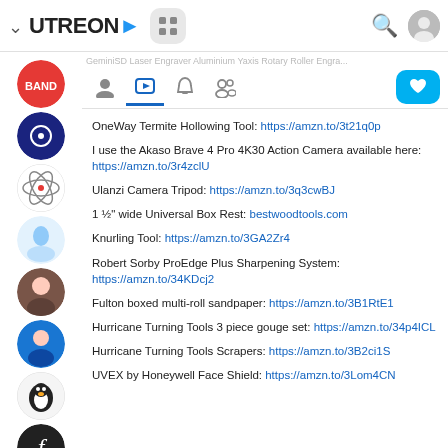[Figure (screenshot): Utreon website top navigation bar with logo, grid icon, search icon, and user avatar]
[Figure (screenshot): Sub-navigation tabs with icons for profile, video, bell, users, and a heart/like button]
OneWay Termite Hollowing Tool: https://amzn.to/3t21q0p
I use the Akaso Brave 4 Pro 4K30 Action Camera available here: https://amzn.to/3r4zclU
Ulanzi Camera Tripod: https://amzn.to/3q3cwBJ
1 ½" wide Universal Box Rest: bestwoodtools.com
Knurling Tool: https://amzn.to/3GA2Zr4
Robert Sorby ProEdge Plus Sharpening System: https://amzn.to/34KDcj2
Fulton boxed multi-roll sandpaper: https://amzn.to/3B1RtE1
Hurricane Turning Tools 3 piece gouge set: https://amzn.to/34p4ICL
Hurricane Turning Tools Scrapers: https://amzn.to/3B2ci1S
UVEX by Honeywell Face Shield: https://amzn.to/3Lom4CN